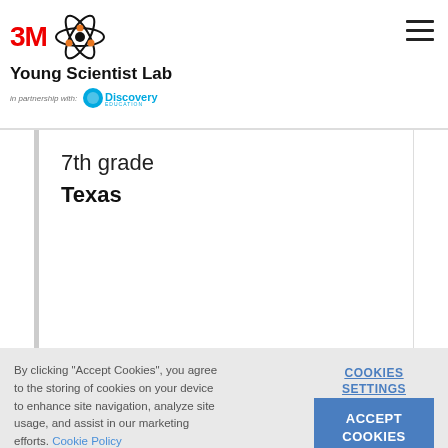[Figure (logo): 3M Young Scientist Lab logo with atom graphic and Discovery Education partnership text]
7th grade
Texas
By clicking "Accept Cookies", you agree to the storing of cookies on your device to enhance site navigation, analyze site usage, and assist in our marketing efforts. Cookie Policy
COOKIES SETTINGS
ACCEPT COOKIES